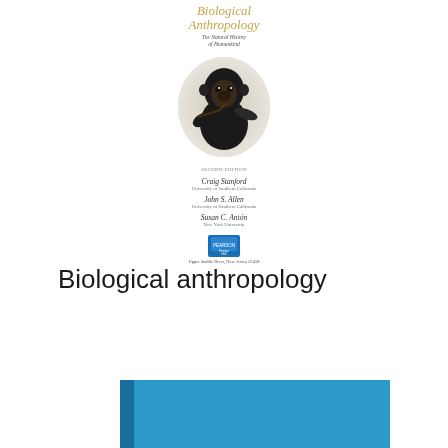[Figure (photo): Book cover of 'Biological Anthropology: The Natural History of Humankind', second edition, by Craig Stanford, John S. Allen, and Susan C. Anton. Shows a chimpanzee image on the cover with Pearson publisher logo at the bottom.]
Biological anthropology
[Figure (illustration): Blue rectangular banner/bar at the bottom of the page, with a darker blue vertical stripe on the left side.]